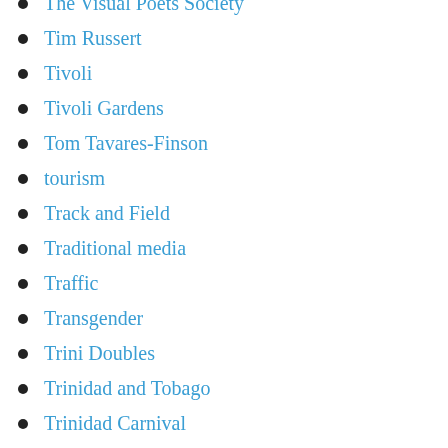The Visual Poets Society
Tim Russert
Tivoli
Tivoli Gardens
Tom Tavares-Finson
tourism
Track and Field
Traditional media
Traffic
Transgender
Trini Doubles
Trinidad and Tobago
Trinidad Carnival
Trinidad Express
Tropical Storm Gustav
Tropical Storm Nicole